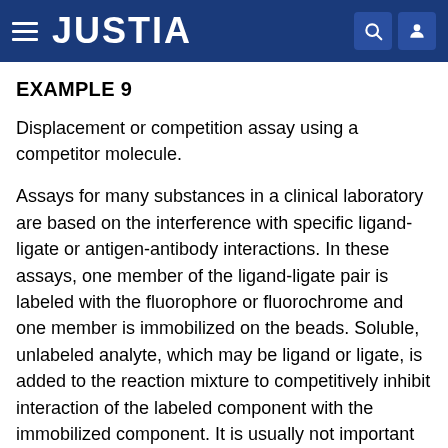JUSTIA
EXAMPLE 9
Displacement or competition assay using a competitor molecule.
Assays for many substances in a clinical laboratory are based on the interference with specific ligand-ligate or antigen-antibody interactions. In these assays, one member of the ligand-ligate pair is labeled with the fluorophore or fluorochrome and one member is immobilized on the beads. Soluble, unlabeled analyte, which may be ligand or ligate, is added to the reaction mixture to competitively inhibit interaction of the labeled component with the immobilized component. It is usually not important which member of the pair is labeled and which is immobilized; however, in certain assays, functional advantages may dictate the